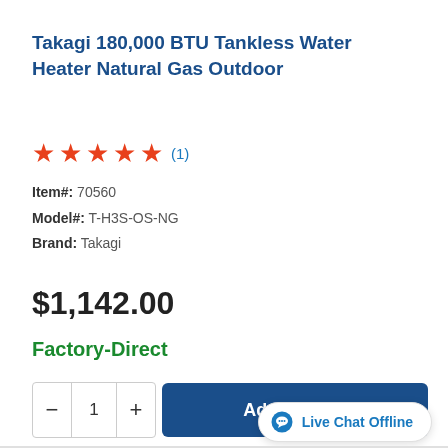Takagi 180,000 BTU Tankless Water Heater Natural Gas Outdoor
★★★★★ (1)
Item#: 70560
Model#: T-H3S-OS-NG
Brand: Takagi
$1,142.00
Factory-Direct
Add To Cart
Live Chat Offline